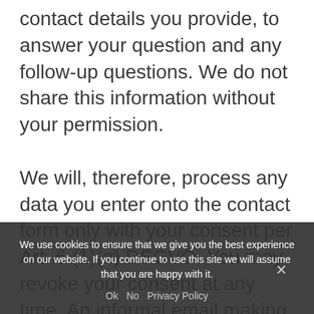contact details you provide, to answer your question and any follow-up questions. We do not share this information without your permission.

We will, therefore, process any data you enter onto the contact form only with your consent per Art. 6 (1)(a) DSGVO. You may revoke your consent at any time. An informal email making this request is sufficient. The data processed before we receive your request may still be legally processed.

We will retain the data you provide on
We use cookies to ensure that we give you the best experience on our website. If you continue to use this site we will assume that you are happy with it.
Ok  No  Privacy Policy